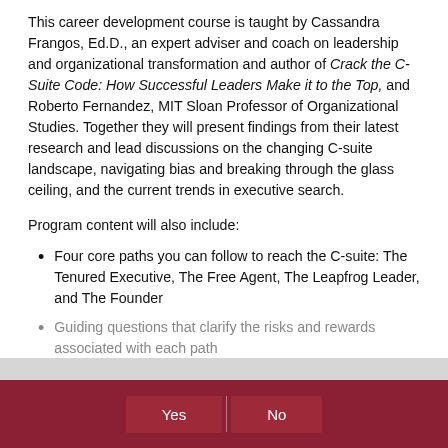This career development course is taught by Cassandra Frangos, Ed.D., an expert adviser and coach on leadership and organizational transformation and author of Crack the C-Suite Code: How Successful Leaders Make it to the Top, and Roberto Fernandez, MIT Sloan Professor of Organizational Studies. Together they will present findings from their latest research and lead discussions on the changing C-suite landscape, navigating bias and breaking through the glass ceiling, and the current trends in executive search.
Program content will also include:
Four core paths you can follow to reach the C-suite: The Tenured Executive, The Free Agent, The Leapfrog Leader, and The Founder
Guiding questions that clarify the risks and rewards associated with each path
This site uses cookies to improve browsing experience. Do you consent?